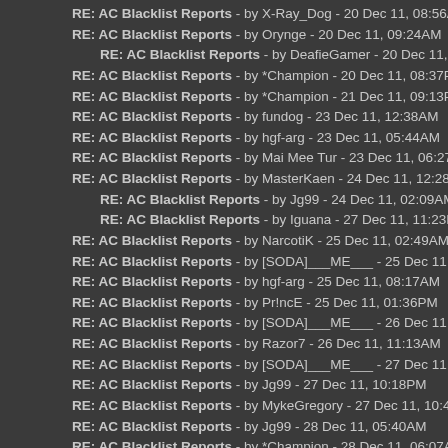RE: AC Blacklist Reports - by X-Ray_Dog - 20 Dec 11, 08:56AM
RE: AC Blacklist Reports - by Orynge - 20 Dec 11, 09:24AM
RE: AC Blacklist Reports - by DeafieGamer - 20 Dec 11, 01:08PM
RE: AC Blacklist Reports - by *Champion - 20 Dec 11, 08:37PM
RE: AC Blacklist Reports - by *Champion - 21 Dec 11, 09:13PM
RE: AC Blacklist Reports - by fundog - 23 Dec 11, 12:38AM
RE: AC Blacklist Reports - by hgf-arg - 23 Dec 11, 05:44AM
RE: AC Blacklist Reports - by Mai Mee Tur - 23 Dec 11, 06:27AM
RE: AC Blacklist Reports - by MasterKaen - 24 Dec 11, 12:28AM
RE: AC Blacklist Reports - by Jg99 - 24 Dec 11, 02:09AM
RE: AC Blacklist Reports - by Iguana - 27 Dec 11, 11:23PM
RE: AC Blacklist Reports - by NarcotiK - 25 Dec 11, 02:49AM
RE: AC Blacklist Reports - by [SODA]___ME___ - 25 Dec 11, 04:03AM
RE: AC Blacklist Reports - by hgf-arg - 25 Dec 11, 08:17AM
RE: AC Blacklist Reports - by Pr!ncE - 25 Dec 11, 01:36PM
RE: AC Blacklist Reports - by [SODA]___ME___ - 26 Dec 11, 05:44AM
RE: AC Blacklist Reports - by Razor7 - 26 Dec 11, 11:13AM
RE: AC Blacklist Reports - by [SODA]___ME___ - 27 Dec 11, 06:03AM
RE: AC Blacklist Reports - by Jg99 - 27 Dec 11, 10:18PM
RE: AC Blacklist Reports - by MykeGregory - 27 Dec 11, 10:41PM
RE: AC Blacklist Reports - by Jg99 - 28 Dec 11, 05:40AM
RE: AC Blacklist Reports - by *Champion - 28 Dec 11, 06:07AM
RE: AC Blacklist Reports - by Medusa - 28 Dec 11, 08:58PM
RE: AC Blacklist Reports - by Robtics - 28 Dec 11, 10:30PM
RE: AC Blacklist Reports - by MykeGregory - 29 Dec 11, 01:04AM